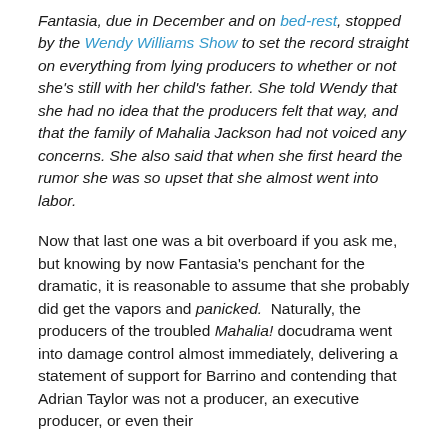Fantasia, due in December and on bed-rest, stopped by the Wendy Williams Show to set the record straight on everything from lying producers to whether or not she's still with her child's father. She told Wendy that she had no idea that the producers felt that way, and that the family of Mahalia Jackson had not voiced any concerns. She also said that when she first heard the rumor she was so upset that she almost went into labor.
Now that last one was a bit overboard if you ask me, but knowing by now Fantasia's penchant for the dramatic, it is reasonable to assume that she probably did get the vapors and panicked. Naturally, the producers of the troubled Mahalia! docudrama went into damage control almost immediately, delivering a statement of support for Barrino and contending that Adrian Taylor was not a producer, an executive producer, or even their